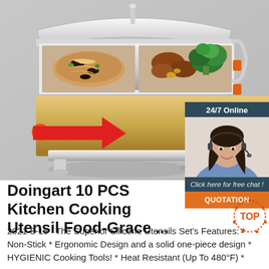[Figure (photo): Product photo of a stainless steel chafing dish food warmer with gold trim, showing two compartments with food (pasta, broccoli, meat dishes), red arrow pointing left, on grey background]
[Figure (infographic): Chat widget overlay: dark teal header '24/7 Online', photo of female customer service agent with headset smiling, dark teal text 'Click here for free chat!', orange button 'QUOTATION']
Doingart 10 PCS Kitchen Cooking Utensil Food-Grace ...
2021-8-15  ·  The Superior Silicone Utensils Set's Features: * Non-Stick * Ergonomic Design and a solid one-piece design * HYGIENIC Cooking Tools! * Heat Resistant (Up To 480°F) *